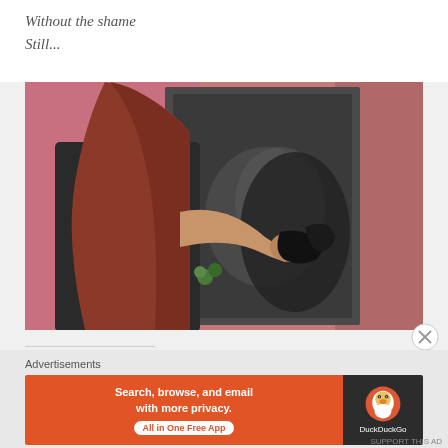Without the shame
Still...
[Figure (photo): Person with long red hair seen from behind, wearing a black top, wiping or cleaning a dark framed chalkboard or mirror mounted on a pink brick wall, holding a dark cloth in their hand.]
Advertisements
[Figure (infographic): DuckDuckGo advertisement banner. Orange left section reads 'Search, browse, and email with more privacy. All in One Free App'. Dark right section shows DuckDuckGo duck logo and brand name.]